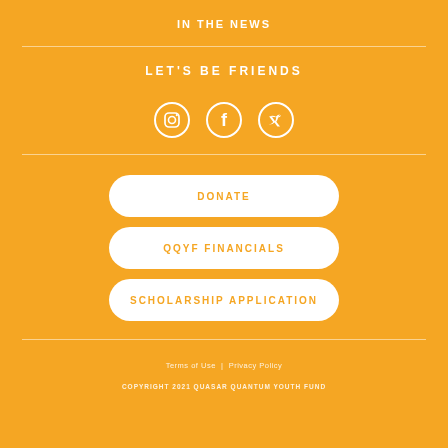IN THE NEWS
LET'S BE FRIENDS
[Figure (illustration): Three social media icons in white circles: Instagram, Facebook, Twitter]
DONATE
QQYF FINANCIALS
SCHOLARSHIP APPLICATION
Terms of Use  |  Privacy Policy
COPYRIGHT 2021 QUASAR QUANTUM YOUTH FUND